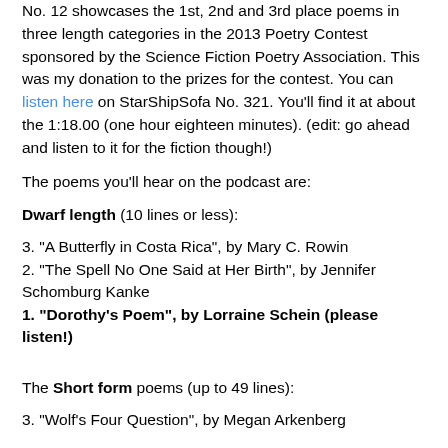No. 12 showcases the 1st, 2nd and 3rd place poems in three length categories in the 2013 Poetry Contest sponsored by the Science Fiction Poetry Association. This was my donation to the prizes for the contest. You can listen here on StarShipSofa No. 321. You'll find it at about the 1:18.00 (one hour eighteen minutes). (edit: go ahead and listen to it for the fiction though!)
The poems you'll hear on the podcast are:
Dwarf length (10 lines or less):
3. "A Butterfly in Costa Rica", by Mary C. Rowin
2. "The Spell No One Said at Her Birth", by Jennifer Schomburg Kanke
1. "Dorothy's Poem", by Lorraine Schein (please listen!)
The Short form poems (up to 49 lines):
3. "Wolf's Four Question", by Megan Arkenberg